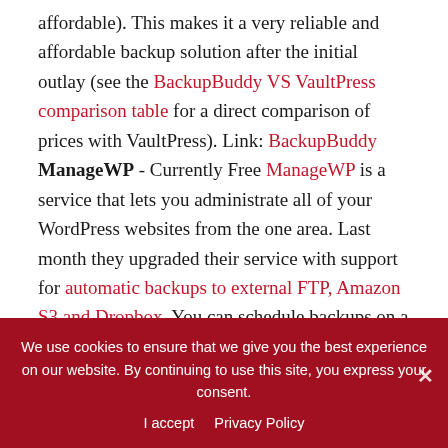affordable). This makes it a very reliable and affordable backup solution after the initial outlay (see the BackupBuddy VS VaultPress comparison table for a direct comparison of prices with VaultPress). Link: BackupBuddy ManageWP - Currently Free ManageWP is a service that lets you administrate all of your WordPress websites from the one area. Last month they upgraded their service with support for automatic backups to external FTP, Amazon S3 and Dropbox. You can schedule backups on a daily, weekly or monthly basis. The number of backups you want
We use cookies to ensure that we give you the best experience on our website. By continuing to use this site, you express your consent. I accept  Privacy Policy